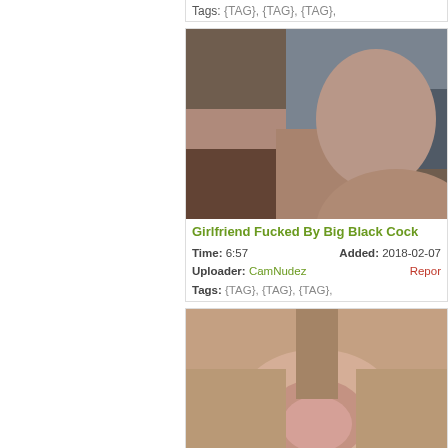Tags: {TAG}, {TAG}, {TAG},
[Figure (photo): Video thumbnail showing adult content]
Girlfriend Fucked By Big Black Cock
Time: 6:57   Added: 2018-02-07
Uploader: CamNudez   Report
Tags: {TAG}, {TAG}, {TAG},
[Figure (photo): Second video thumbnail showing adult content]